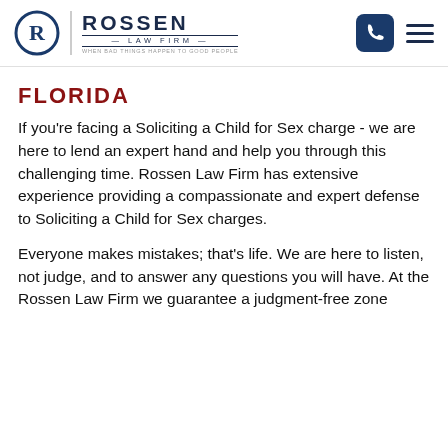Rossen Law Firm — When Bad Things Happen to Good People
FLORIDA
If you're facing a Soliciting a Child for Sex charge - we are here to lend an expert hand and help you through this challenging time. Rossen Law Firm has extensive experience providing a compassionate and expert defense to Soliciting a Child for Sex charges.
Everyone makes mistakes; that's life. We are here to listen, not judge, and to answer any questions you will have. At the Rossen Law Firm we guarantee a judgment-free zone